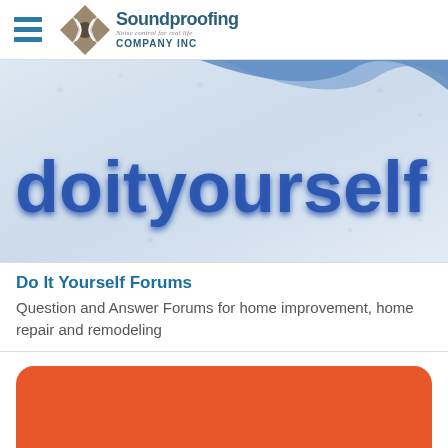[Figure (logo): Soundproofing Company Inc logo with hamburger menu icon. Logo shows diamond shape with sound waves and text 'Soundproofing Company INC - Noise control for real life']
[Figure (screenshot): Banner image showing the word 'doityourself' in large blue stylized text on a light blue/white background with a blue swoosh graphic]
Do It Yourself Forums
Question and Answer Forums for home improvement, home repair and remodeling
[Figure (illustration): Partial orange rounded rectangle card, cropped at bottom of page]